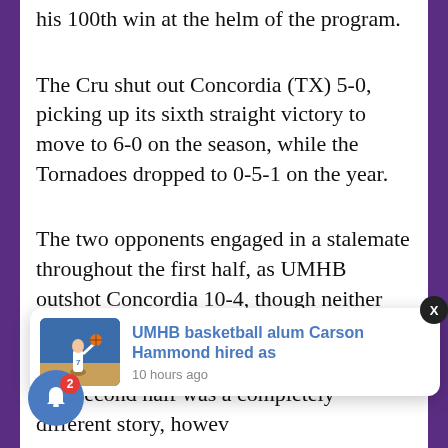his 100th win at the helm of the program.
The Cru shut out Concordia (TX) 5-0, picking up its sixth straight victory to move to 6-0 on the season, while the Tornadoes dropped to 0-5-1 on the year.
The two opponents engaged in a stalemate throughout the first half, as UMHB outshot Concordia 10-4, though neither side was able to find the back of the net.
The second half was a completely different story, however, as UMHB midfielder Grace Greenly ope[ned] …pressive [scoring]… earning the rare “Hat Trick”. The Tyler
[Figure (screenshot): Website notification popup showing a basketball photo with text 'UMHB basketball alum Carson Hammond hired as' and timestamp '10 hours ago', along with a blue bell notification button with badge showing '2' and a dark close button labeled 'X']